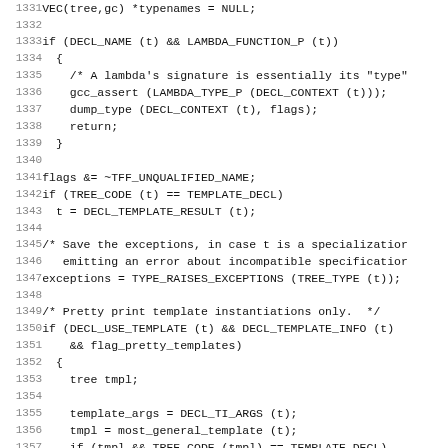[Figure (other): Source code listing in C/C++ with line numbers 1331-1362, showing code related to lambda function handling, template declarations, and pretty printing template instantiations.]